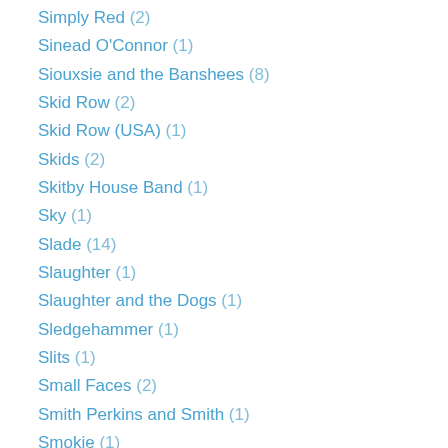Simply Red (2)
Sinead O'Connor (1)
Siouxsie and the Banshees (8)
Skid Row (2)
Skid Row (USA) (1)
Skids (2)
Skitby House Band (1)
Sky (1)
Slade (14)
Slaughter (1)
Slaughter and the Dogs (1)
Sledgehammer (1)
Slits (1)
Small Faces (2)
Smith Perkins and Smith (1)
Smokie (1)
SNAFU (2)
Snips (1)
Snoop Dog (1)
Snow Patrol (1)